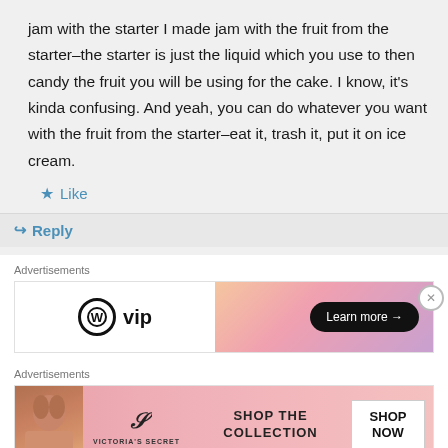jam with the starter I made jam with the fruit from the starter–the starter is just the liquid which you use to then candy the fruit you will be using for the cake. I know, it's kinda confusing. And yeah, you can do whatever you want with the fruit from the starter–eat it, trash it, put it on ice cream.
★ Like
↳ Reply
Advertisements
[Figure (screenshot): WordPress VIP advertisement banner with gradient peach-pink right side and 'Learn more →' black pill button]
Advertisements
[Figure (screenshot): Victoria's Secret advertisement banner with pink background, model photo, VS logo, 'SHOP THE COLLECTION' text, and 'SHOP NOW' white button]